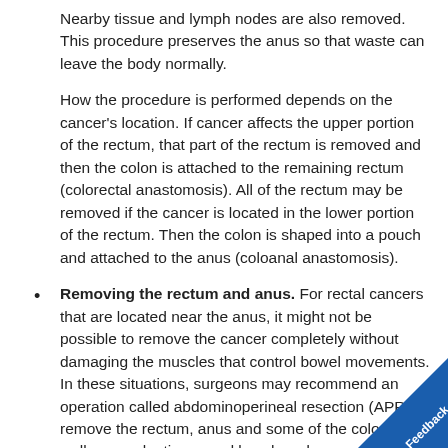Nearby tissue and lymph nodes are also removed. This procedure preserves the anus so that waste can leave the body normally.
How the procedure is performed depends on the cancer's location. If cancer affects the upper portion of the rectum, that part of the rectum is removed and then the colon is attached to the remaining rectum (colorectal anastomosis). All of the rectum may be removed if the cancer is located in the lower portion of the rectum. Then the colon is shaped into a pouch and attached to the anus (coloanal anastomosis).
Removing the rectum and anus. For rectal cancers that are located near the anus, it might not be possible to remove the cancer completely without damaging the muscles that control bowel movements. In these situations, surgeons may recommend an operation called abdominoperineal resection (APR) to remove the rectum, anus and some of the colon, as well as nearby tissue and lymph nodes.
The surgeon creates an opening in the abdom...